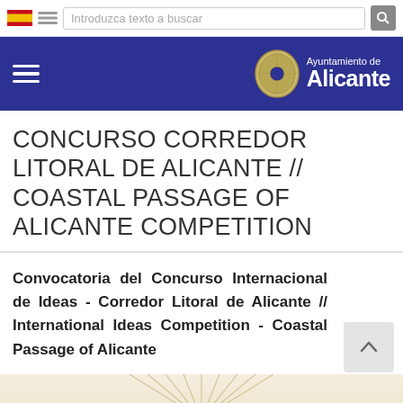Introduzca texto a buscar
[Figure (screenshot): Navigation bar with hamburger menu and Ayuntamiento de Alicante logo on dark blue background]
CONCURSO CORREDOR LITORAL DE ALICANTE // COASTAL PASSAGE OF ALICANTE COMPETITION
Convocatoria del Concurso Internacional de Ideas - Corredor Litoral de Alicante // International Ideas Competition - Coastal Passage of Alicante
[Figure (illustration): Decorative fan/shell pattern in beige/cream tones]
Utilizamos cookies propias y de terceros para contabilizar el número de visitas a las páginas de esta Web, y para adaptar la